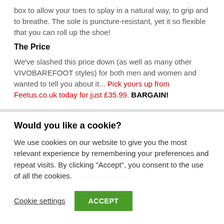box to allow your toes to splay in a natural way, to grip and to breathe. The sole is puncture-resistant, yet it so flexible that you can roll up the shoe!
The Price
We've slashed this price down (as well as many other VIVOBAREFOOT styles) for both men and women and wanted to tell you about it... Pick yours up from Feetus.co.uk today for just £35.99. BARGAIN!
Would you like a cookie?
We use cookies on our website to give you the most relevant experience by remembering your preferences and repeat visits. By clicking "Accept", you consent to the use of all the cookies.
Cookie settings
ACCEPT